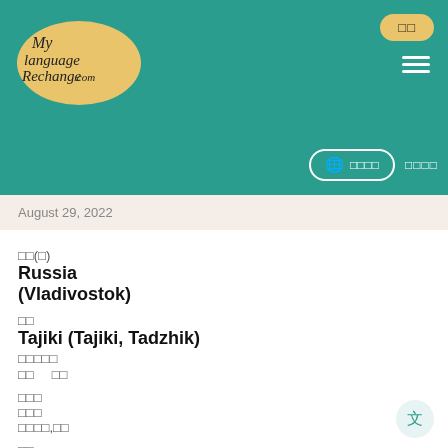[Figure (logo): MyLanguageExchange.com logo on yellow oval, teal background header with hamburger menu, globe button, and language buttons]
August 29, 2022
거주(국)
Russia
(Vladivostok)
언어
Tajiki (Tajiki, Tadzhik)
배우고싶어요
남성
여성
나이대
직업
관심사,취미
소개
Hi, look to the numbers below .I will try to